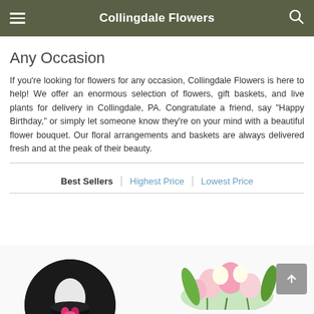Collingdale Flowers
Any Occasion
If you're looking for flowers for any occasion, Collingdale Flowers is here to help! We offer an enormous selection of flowers, gift baskets, and live plants for delivery in Collingdale, PA. Congratulate a friend, say "Happy Birthday," or simply let someone know they're on your mind with a beautiful flower bouquet. Our floral arrangements and baskets are always delivered fresh and at the peak of their beauty.
Best Sellers | Highest Price | Lowest Price
[Figure (photo): Two circular product images at the bottom: left shows a person in formal wear holding a pink flower, right shows a floral arrangement with pink and white flowers]